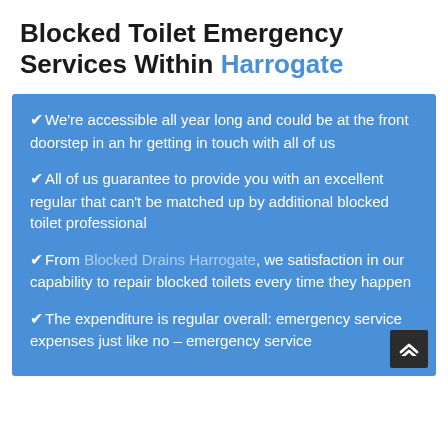Blocked Toilet Emergency Services Within Harrogate
We're accessible all year long and could be at the front doorstep in an hr getting in touch with all of us
All of us guarantee to provide you with an excellent regular that can't be matched up by additional blocked toilet professional
From Blocked Drains Harrogate, we satisfaction in our capability to repair blocked toilets every time they happen
The expenditure is regular overall: emergency service expenses just like no – emergency service